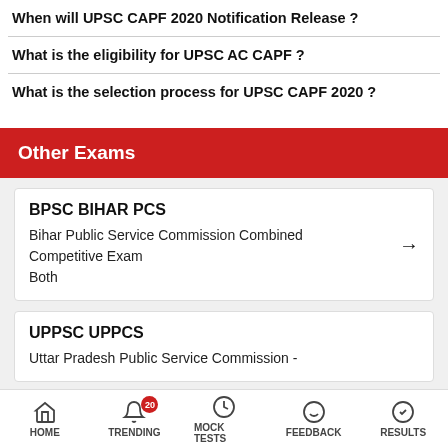When will UPSC CAPF 2020 Notification Release ?
What is the eligibility for UPSC AC CAPF ?
What is the selection process for UPSC CAPF 2020 ?
Other Exams
BPSC BIHAR PCS
Bihar Public Service Commission Combined Competitive Exam
Both
UPPSC UPPCS
Uttar Pradesh Public Service Commission -
HOME   TRENDING   MOCK TESTS   FEEDBACK   RESULTS